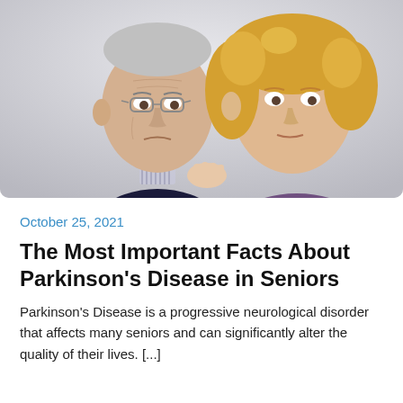[Figure (photo): An elderly man with glasses wearing a dark navy sweater over a collared shirt sits looking downward with a worried expression. A younger woman with curly blonde hair wearing a purple top stands beside him with her hand on his shoulder in a comforting gesture. The background is light gray/white.]
October 25, 2021
The Most Important Facts About Parkinson's Disease in Seniors
Parkinson's Disease is a progressive neurological disorder that affects many seniors and can significantly alter the quality of their lives. [...]